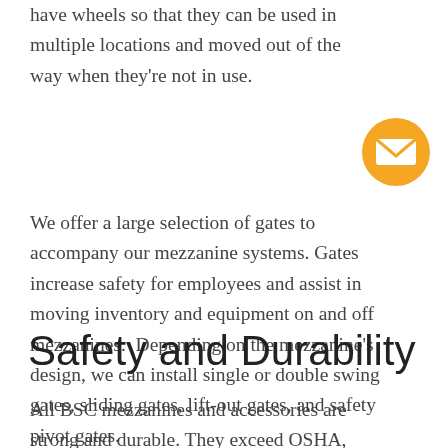have wheels so that they can be used in multiple locations and moved out of the way when they're not in use.
[Figure (illustration): Orange circular email/contact button with white envelope icon]
We offer a large selection of gates to accompany our mezzanine systems. Gates increase safety for employees and assist in moving inventory and equipment on and off mezzanines.  Depending on the mezzanine's design, we can install single or double swing gates, sliding gates, lift-out gates, and safety pivot gates.
Safety and Durability
All BSC mezzanines and accessories are strong and durable. They exceed OSHA,